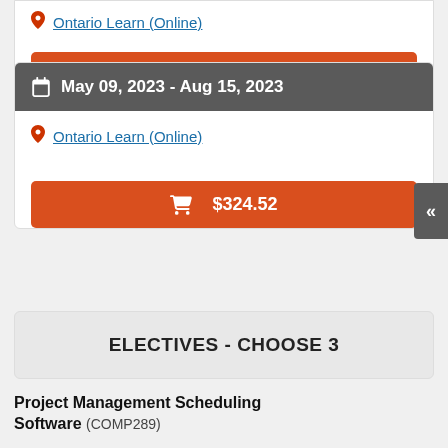Ontario Learn (Online)
$324.52
May 09, 2023 - Aug 15, 2023
Ontario Learn (Online)
$324.52
ELECTIVES - CHOOSE 3
Project Management Scheduling Software (COMP289)